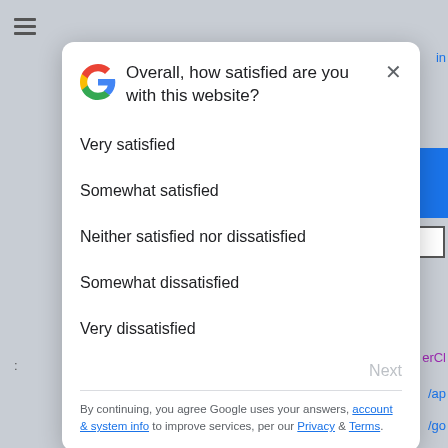[Figure (screenshot): Background of a Google webpage with menu icon, blue button, checkbox, and partial text links visible]
Overall, how satisfied are you with this website?
Very satisfied
Somewhat satisfied
Neither satisfied nor dissatisfied
Somewhat dissatisfied
Very dissatisfied
Next
By continuing, you agree Google uses your answers, account & system info to improve services, per our Privacy & Terms.